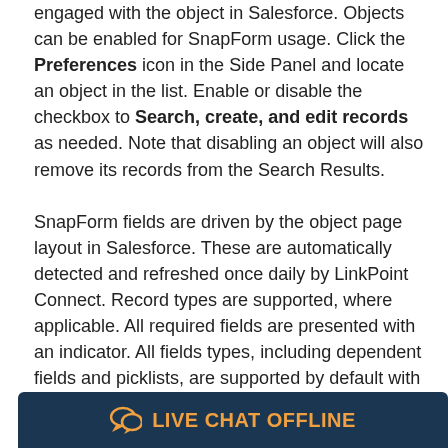engaged with the object in Salesforce. Objects can be enabled for SnapForm usage. Click the Preferences icon in the Side Panel and locate an object in the list. Enable or disable the checkbox to Search, create, and edit records as needed. Note that disabling an object will also remove its records from the Search Results.

SnapForm fields are driven by the object page layout in Salesforce. These are automatically detected and refreshed once daily by LinkPoint Connect. Record types are supported, where applicable. All required fields are presented with an indicator. All fields types, including dependent fields and picklists, are supported by default with the exception of formula fields, geolocation fields, and fields driven by external data in third-party applications. SnapForm field layout will reflect the order, groupings, labels, and tool tips as they are displayed in Salesforce. Customers who wish to change the fields or the arrangement of fields in the SnapForm will require a Salesforce admin to update the page layout on the object(s) in Salesforce.
[Figure (other): Live chat offline button bar — dark navy background with orange chat icon and text 'LIVE CHAT OFFLINE']